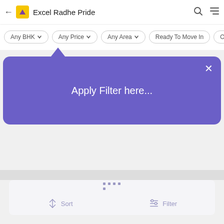[Figure (screenshot): Mobile app navigation bar with back arrow, yellow logo icon, title 'Excel Radhe Pride', search icon, and hamburger menu icon]
[Figure (screenshot): Filter chips row with options: Any BHK, Any Price, Any Area, Ready To Move In, Own...]
[Figure (screenshot): Purple tooltip balloon with upward arrow pointing to filter chips, containing text 'Apply Filter here...' and an X close button]
[Figure (screenshot): Bottom card panel with a 3x3 grid of dots icon in the center, and Sort / Filter buttons at the bottom]